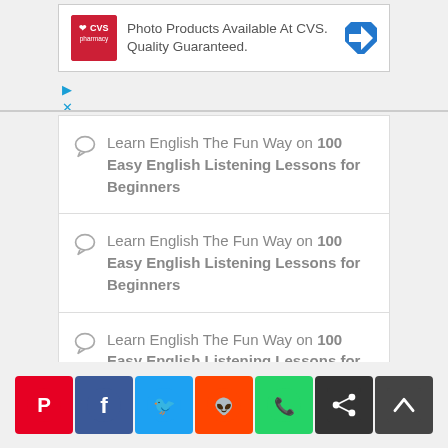[Figure (screenshot): CVS Pharmacy advertisement banner: red CVS logo on left, text 'Photo Products Available At CVS. Quality Guaranteed.', blue diamond arrow icon on right]
Learn English The Fun Way on 100 Easy English Listening Lessons for Beginners
Learn English The Fun Way on 100 Easy English Listening Lessons for Beginners
Learn English The Fun Way on 100 Easy English Listening Lessons for Beginners
[Figure (infographic): Social sharing buttons row: Pinterest (red), Facebook (dark blue), Twitter (light blue), Reddit (orange), WhatsApp (green), Share (dark gray), Up arrow (dark gray)]